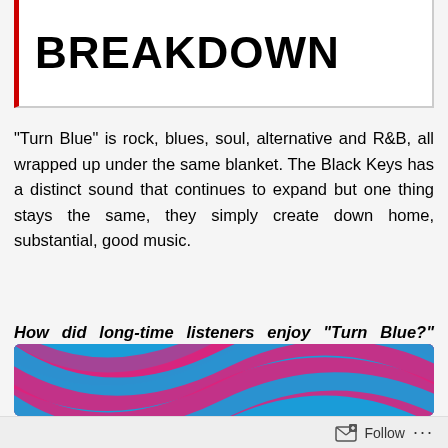BREAKDOWN
“Turn Blue” is rock, blues, soul, alternative and R&B, all wrapped up under the same blanket. The Black Keys has a distinct sound that continues to expand but one thing stays the same, they simply create down home, substantial, good music.
How did long-time listeners enjoy “Turn Blue?” Thoughts from new fans? Let us know in the comments below.
[Figure (illustration): Colorful abstract swirling design in blue and pink/magenta tones, partially visible at bottom of page]
Follow ...